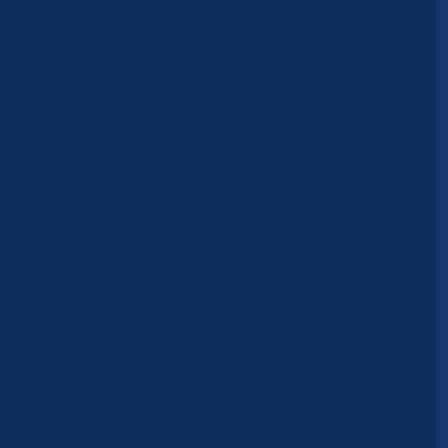[Figure (other): Dark navy blue book cover or spine page showing vertical text reading 'ources .publishing and/or editing' in light gray/white spaced letters on a dark blue background, with a slightly lighter blue vertical stripe/spine visible near the right edge of the visible area.]